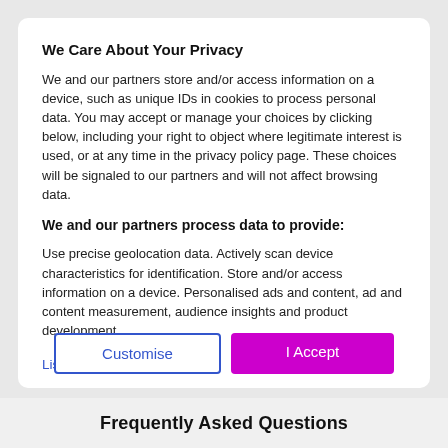We Care About Your Privacy
We and our partners store and/or access information on a device, such as unique IDs in cookies to process personal data. You may accept or manage your choices by clicking below, including your right to object where legitimate interest is used, or at any time in the privacy policy page. These choices will be signaled to our partners and will not affect browsing data.
We and our partners process data to provide:
Use precise geolocation data. Actively scan device characteristics for identification. Store and/or access information on a device. Personalised ads and content, ad and content measurement, audience insights and product development.
List of Partners (Vendors)
Customise
I Accept
Frequently Asked Questions